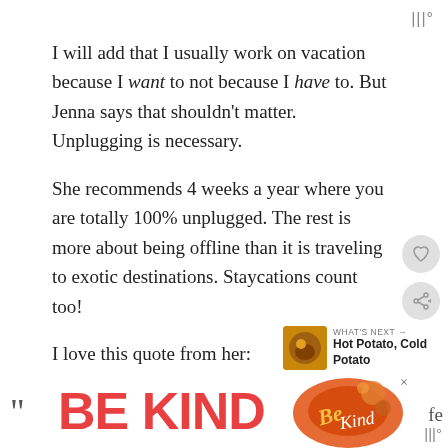|||°
I will add that I usually work on vacation because I want to not because I have to. But Jenna says that shouldn't matter. Unplugging is necessary.

She recommends 4 weeks a year where you are totally 100% unplugged. The rest is more about being offline than it is traveling to exotic destinations. Staycations count too!

I love this quote from her:
[Figure (infographic): BE KIND advertisement banner with decorative floral/text overlay image and partial quote text]
|||°